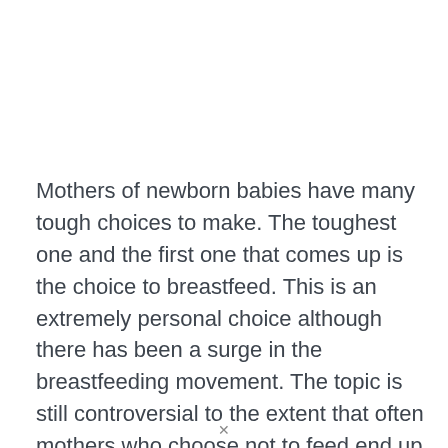Mothers of newborn babies have many tough choices to make. The toughest one and the first one that comes up is the choice to breastfeed. This is an extremely personal choice although there has been a surge in the breastfeeding movement. The topic is still controversial to the extent that often mothers who choose not to feed end up feeling judged for their choice. It is important to understand breastfeeding pros and cons before deciding what works best for you and your baby. We, therefore, make our best attempt at